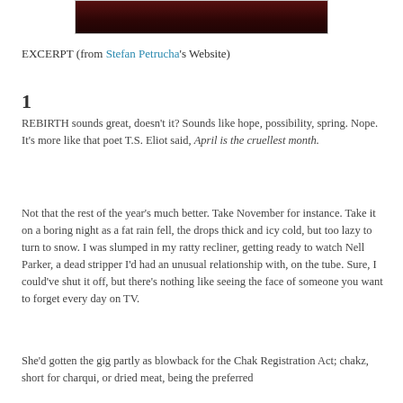[Figure (photo): Partial top image, dark reddish tone, appears to be a book cover or photograph cropped at the top of the page.]
EXCERPT (from Stefan Petrucha's Website)
1
REBIRTH sounds great, doesn't it? Sounds like hope, possibility, spring. Nope. It's more like that poet T.S. Eliot said, April is the cruellest month.
Not that the rest of the year's much better. Take November for instance. Take it on a boring night as a fat rain fell, the drops thick and icy cold, but too lazy to turn to snow. I was slumped in my ratty recliner, getting ready to watch Nell Parker, a dead stripper I'd had an unusual relationship with, on the tube. Sure, I could've shut it off, but there's nothing like seeing the face of someone you want to forget every day on TV.
She'd gotten the gig partly as blowback for the Chak Registration Act; chakz, short for charqui, or dried meat, being the preferred